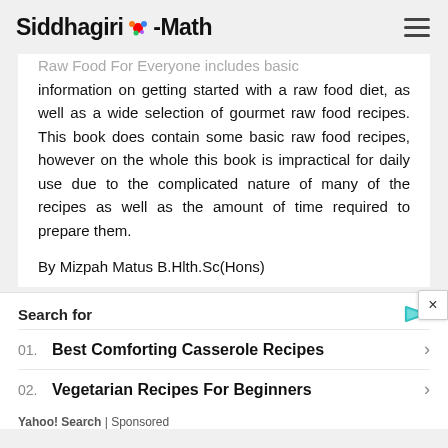Siddhagiri-Math
Raw Food For Everyone includes basic information on getting started with a raw food diet, as well as a wide selection of gourmet raw food recipes. This book does contain some basic raw food recipes, however on the whole this book is impractical for daily use due to the complicated nature of many of the recipes as well as the amount of time required to prepare them.
By Mizpah Matus B.Hlth.Sc(Hons)
Search for
01. Best Comforting Casserole Recipes
02. Vegetarian Recipes For Beginners
Yahoo! Search | Sponsored